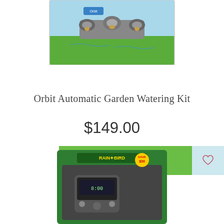[Figure (photo): Orbit Automatic Garden Watering Kit product photo in packaging, showing sprinkler heads on green grass background with blue sky]
Orbit Automatic Garden Watering Kit
$149.00
ADD TO CART
[Figure (photo): Rain Bird garden watering timer product in green retail packaging, partially visible at bottom of page]